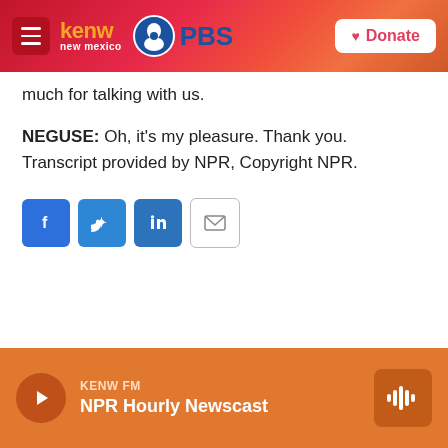KENW new mexico PBS | Donate
much for talking with us.
NEGUSE: Oh, it's my pleasure. Thank you. Transcript provided by NPR, Copyright NPR.
[Figure (other): Social share buttons: Facebook, Twitter, LinkedIn, Email]
KENW FM | NPR Hourly Newscast